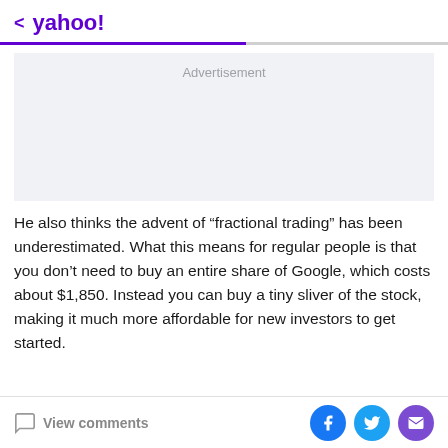< yahoo!
[Figure (other): Advertisement placeholder box with light gray background and 'Advertisement' label text]
He also thinks the advent of “fractional trading” has been underestimated. What this means for regular people is that you don’t need to buy an entire share of Google, which costs about $1,850. Instead you can buy a tiny sliver of the stock, making it much more affordable for new investors to get started.
View comments | Facebook share | Twitter share | Email share